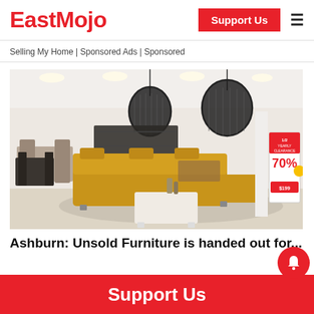EastMojo | Support Us
Selling My Home | Sponsored Ads | Sponsored
[Figure (photo): Interior of a furniture showroom with yellow/mustard sectional sofa, white coffee table, hanging black dome pendant lights, and a 70% clearance sale sign in the background.]
Ashburn: Unsold Furniture is handed out for...
Support Us